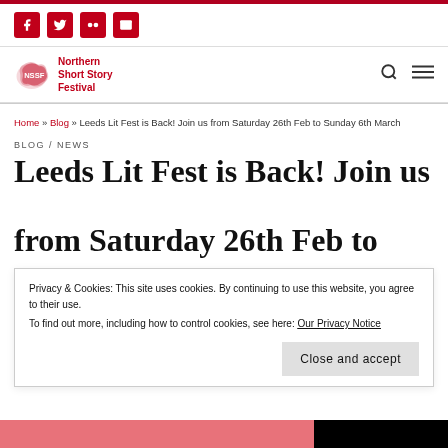Social icons: Facebook, Twitter, Flickr, Email
[Figure (logo): Northern Short Story Festival logo with red splat graphic and text]
Home » Blog » Leeds Lit Fest is Back! Join us from Saturday 26th Feb to Sunday 6th March
BLOG / NEWS
Leeds Lit Fest is Back! Join us from Saturday 26th Feb to
Privacy & Cookies: This site uses cookies. By continuing to use this website, you agree to their use.
To find out more, including how to control cookies, see here: Our Privacy Notice
Close and accept